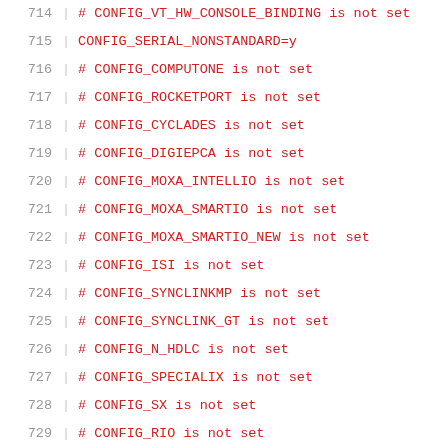714  # CONFIG_VT_HW_CONSOLE_BINDING is not set
715  CONFIG_SERIAL_NONSTANDARD=y
716  # CONFIG_COMPUTONE is not set
717  # CONFIG_ROCKETPORT is not set
718  # CONFIG_CYCLADES is not set
719  # CONFIG_DIGIEPCA is not set
720  # CONFIG_MOXA_INTELLIO is not set
721  # CONFIG_MOXA_SMARTIO is not set
722  # CONFIG_MOXA_SMARTIO_NEW is not set
723  # CONFIG_ISI is not set
724  # CONFIG_SYNCLINKMP is not set
725  # CONFIG_SYNCLINK_GT is not set
726  # CONFIG_N_HDLC is not set
727  # CONFIG_SPECIALIX is not set
728  # CONFIG_SX is not set
729  # CONFIG_RIO is not set
730  # CONFIG_STALDRV is not set
731  CONFIG_SGI_SNSC=y
732  CONFIG_SGI_TIOCX=y
733  CONFIG_SGI_MBCS=m
734